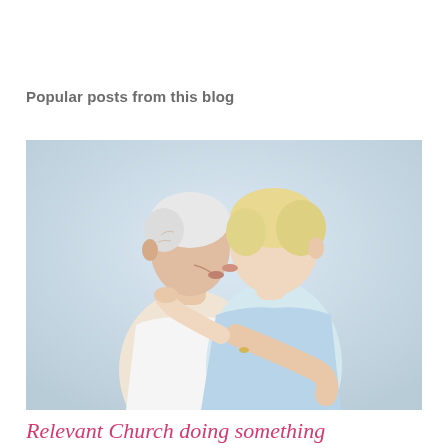Popular posts from this blog
[Figure (photo): An elderly couple kissing, man in white sleeveless shirt and woman in light blue top, embracing against a light background]
Relevant Church doing something